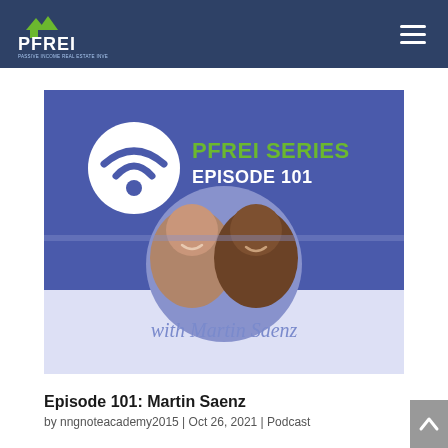PFREI
[Figure (screenshot): PFREI Series Episode 101 podcast thumbnail featuring two men smiling, with 'with Martin Saenz' text below on a purple/blue background]
Episode 101: Martin Saenz
by nngnoteacademy2015 | Oct 26, 2021 | Podcast